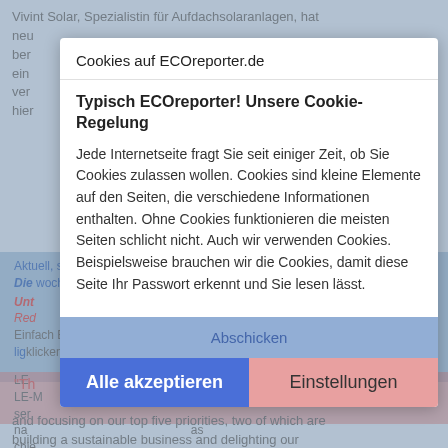Vivint Solar, Spezialistin für Aufdachsolaranlagen, hat neu ber ein ver hier
Cookies auf ECOreporter.de
Typisch ECOreporter! Unsere Cookie-Regelung
Jede Internetseite fragt Sie seit einiger Zeit, ob Sie Cookies zulassen wollen. Cookies sind kleine Elemente auf den Seiten, die verschiedene Informationen enthalten. Ohne Cookies funktionieren die meisten Seiten schlicht nicht. Auch wir verwenden Cookies. Beispielsweise brauchen wir die Cookies, damit diese Seite Ihr Passwort erkennt und Sie lesen lässt.
Abschicken
Alle akzeptieren
Einstellungen
Nicht mehr anzeigen
and focusing on our top five priorities, two of which are building a sustainable business and delighting our